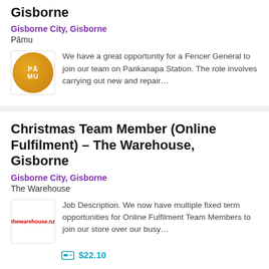Gisborne
Gisborne City, Gisborne
Pāmu
[Figure (logo): Pāmu logo – gold circle with PĀMU text]
We have a great opportunity for a Fencer General to join our team on Parikanapa Station. The role involves carrying out new and repair...
Christmas Team Member (Online Fulfilment) – The Warehouse, Gisborne
Gisborne City, Gisborne
The Warehouse
[Figure (logo): The Warehouse logo – red text thewarehouse.nz]
Job Description. We now have multiple fixed term opportunities for Online Fulfilment Team Members to join our store over our busy...
$22.10
Service Person